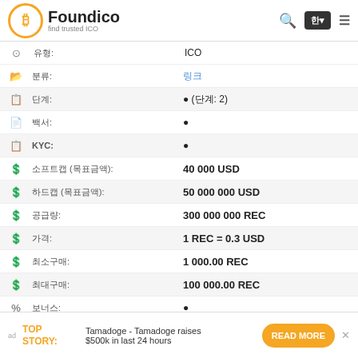Foundico - find trusted ICO
| Icon | Label | Value |
| --- | --- | --- |
| ● | 유형: | ICO |
| 📁 | 분류: | 링크 |
| 📋 | 단계: | ● (단계: 2) |
| 📄 | 백서: | ● |
| 📋 | KYC: | ● |
| 💰 | 소프트캡 (목표금액): | 40 000 USD |
| 💰 | 하드캡 (목표금액): | 50 000 000 USD |
| 💰 | 공급량: | 300 000 000 REC |
| 💰 | 가격: | 1 REC = 0.3 USD |
| 💰 | 최소구매: | 1 000.00 REC |
| 💰 | 최대구매: | 100 000.00 REC |
| % | 보너스: | ● |
| % | 보너스: | ● |
| 👤 | 팀원수: | ● |
| ⚙ | 분산화: | ● |
| 📄 | 문서: | 링크 |
| ₿ | 통화: | ETH. BTC. USDT |
ad TOP STORY: Tamadoge - Tamadoge raises $500k in last 24 hours READ MORE